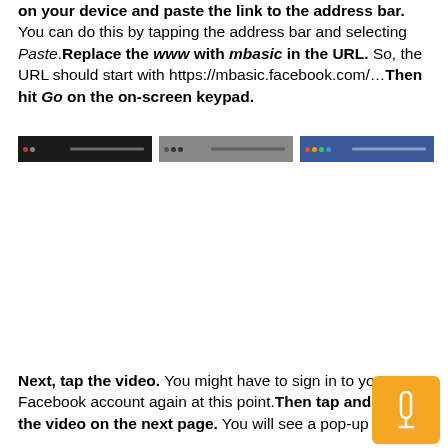on your device and paste the link to the address bar. You can do this by tapping the address bar and selecting Paste.Replace the www with mbasic in the URL. So, the URL should start with https://mbasic.facebook.com/…Then hit Go on the on-screen keypad.
[Figure (screenshot): Three screenshots of address bars: dark/black, gray, and blue Facebook browser address bars showing URL text]
Next, tap the video. You might have to sign in to your Facebook account again at this point.Then tap and hold on the video on the next page. You will see a pop-up